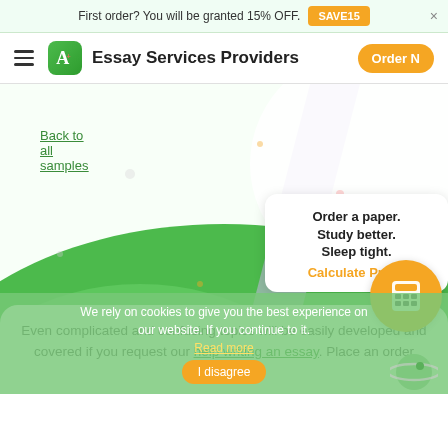First order? You will be granted 15% OFF. SAVE15
Essay Services Providers
Back to all samples
Order a paper. Study better. Sleep tight. Calculate Price!
Even complicated and confusing topics will be easily developed and covered if you request our help writing an essay. Place an order today!
We rely on cookies to give you the best experience on our website. If you continue to it. Read more I disagree